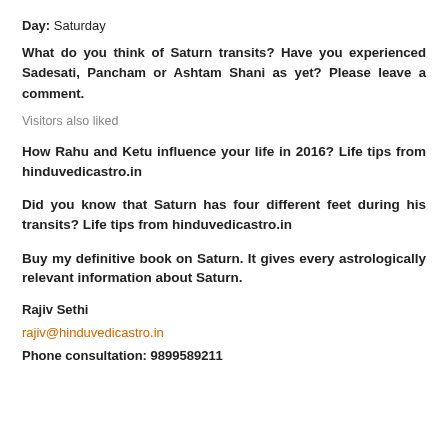Day: Saturday
What do you think of Saturn transits? Have you experienced Sadesati, Pancham or Ashtam Shani as yet? Please leave a comment.
Visitors also liked
How Rahu and Ketu influence your life in 2016? Life tips from hinduvedicastro.in
Did you know that Saturn has four different feet during his transits? Life tips from hinduvedicastro.in
Buy my definitive book on Saturn. It gives every astrologically relevant information about Saturn.
Rajiv Sethi
rajiv@hinduvedicastro.in
Phone consultation: 9899589211